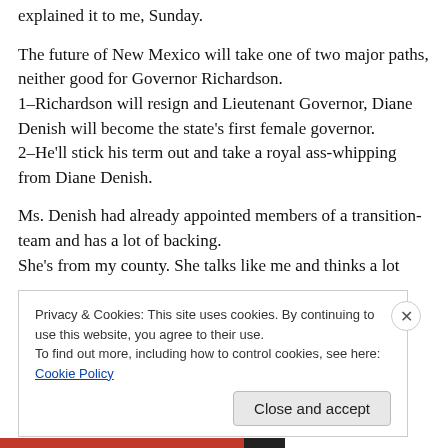explained it to me, Sunday.
The future of New Mexico will take one of two major paths, neither good for Governor Richardson.
1–Richardson will resign and Lieutenant Governor, Diane Denish will become the state's first female governor.
2–He'll stick his term out and take a royal ass-whipping from Diane Denish.
Ms. Denish had already appointed members of a transition-team and has a lot of backing.
She's from my county. She talks like me and thinks a lot
Privacy & Cookies: This site uses cookies. By continuing to use this website, you agree to their use.
To find out more, including how to control cookies, see here: Cookie Policy